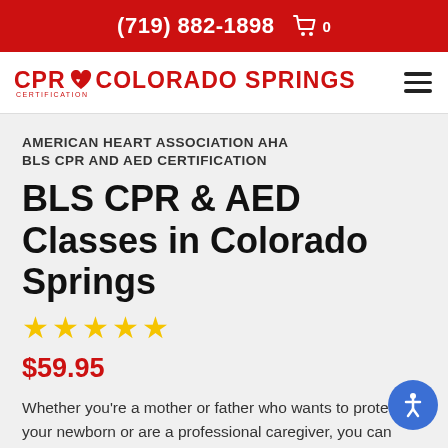(719) 882-1898
[Figure (logo): CPR Certification Colorado Springs logo with heart icon]
AMERICAN HEART ASSOCIATION AHA BLS CPR AND AED CERTIFICATION
BLS CPR & AED Classes in Colorado Springs
★★★★★
$59.95
Whether you're a mother or father who wants to protect your newborn or are a professional caregiver, you can have the guidance you need to care for young ones while getting the top-level infant CPR that many employers require! Our